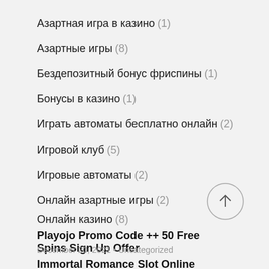Азартная игра в казино (1)
Азартные игры (8)
Бездепозитный бонус фриспины (1)
Бонусы в казино (1)
Играть автоматы бесплатно онлайн (2)
Игровой клуб (5)
Игровые автоматы (2)
Онлайн азартные игры (2)
Онлайн казино (8)
[Figure (other): Back to top arrow button, circle outline with upward arrow]
Playojo Promo Code ++ 50 Free Spins Sign Up Offer
December 20, 2021 • Uncategorized
Immortal Romance Slot Online
December 20, 2021 • Uncategorized